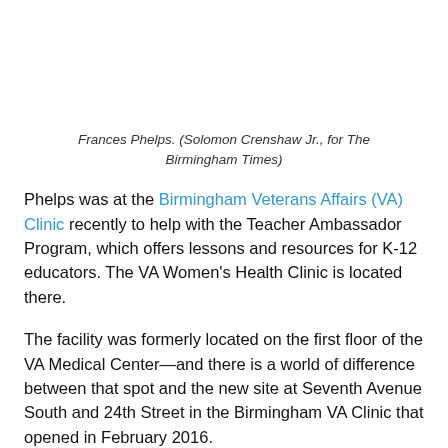Frances Phelps. (Solomon Crenshaw Jr., for The Birmingham Times)
Phelps was at the Birmingham Veterans Affairs (VA) Clinic recently to help with the Teacher Ambassador Program, which offers lessons and resources for K-12 educators. The VA Women's Health Clinic is located there.
The facility was formerly located on the first floor of the VA Medical Center—and there is a world of difference between that spot and the new site at Seventh Avenue South and 24th Street in the Birmingham VA Clinic that opened in February 2016.
The new VA Women's Health Clinic is at least three times as large as